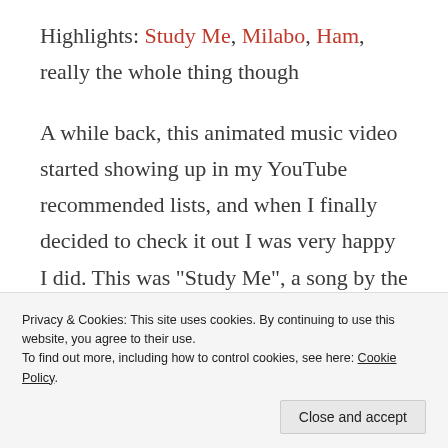Highlights: Study Me, Milabo, Ham, really the whole thing though
A while back, this animated music video started showing up in my YouTube recommended lists, and when I finally decided to check it out I was very happy I did. This was “Study Me”, a song by the Japanese
Privacy & Cookies: This site uses cookies. By continuing to use this website, you agree to their use.
To find out more, including how to control cookies, see here: Cookie Policy
themselves: nobody even knows what they